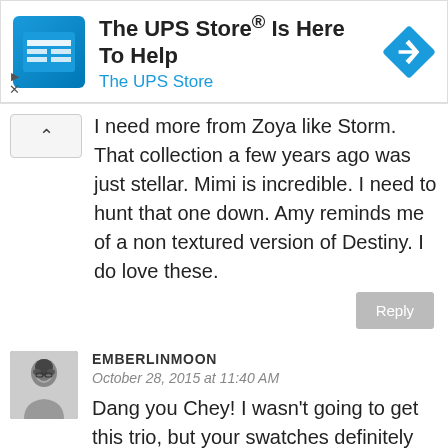[Figure (screenshot): UPS Store advertisement banner with logo icon, title text 'The UPS Store® Is Here To Help', subtitle 'The UPS Store', and a blue navigation/directions diamond icon on the right.]
I need more from Zoya like Storm. That collection a few years ago was just stellar. Mimi is incredible. I need to hunt that one down. Amy reminds me of a non textured version of Destiny. I do love these.
Reply
EMBERLINMOON
October 28, 2015 at 11:40 AM
Dang you Chey! I wasn't going to get this trio, but your swatches definitely